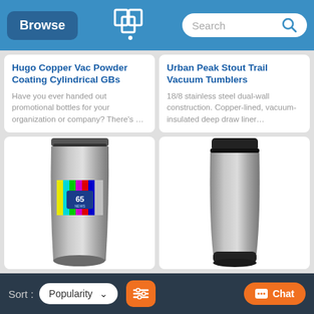Browse | [Logo] | Search
Hugo Copper Vac Powder Coating Cylindrical GBs
Have you ever handed out promotional bottles for your organization or company? There's …
Urban Peak Stout Trail Vacuum Tumblers
18/8 stainless steel dual-wall construction. Copper-lined, vacuum-insulated deep draw liner…
[Figure (photo): Silver stainless steel travel tumbler with a TV test pattern / channel 65 news graphic printed on it, with a clear lid]
[Figure (photo): Silver stainless steel travel tumbler with a black lid and black base]
Sort: Popularity ▾ | [filter icon] | Chat